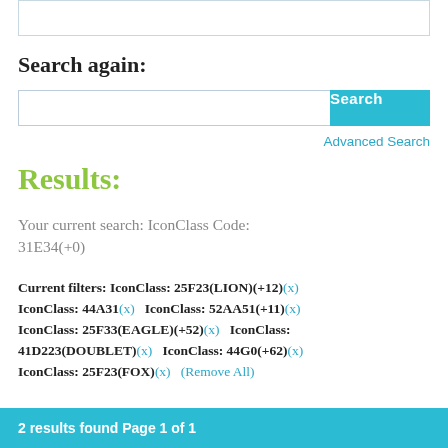[Figure (screenshot): Top bordered input box (partial, clipped at top)]
Search again:
[Figure (screenshot): Search input box with Search button]
Advanced Search
Results:
Your current search: IconClass Code: 31E34(+0)
Current filters: IconClass: 25F23(LION)(+12)(x) IconClass: 44A31(x)   IconClass: 52AA51(+11)(x) IconClass: 25F33(EAGLE)(+52)(x)   IconClass: 41D223(DOUBLET)(x)   IconClass: 44G0(+62)(x) IconClass: 25F23(FOX)(x)   (Remove All)
2 results found Page 1 of 1